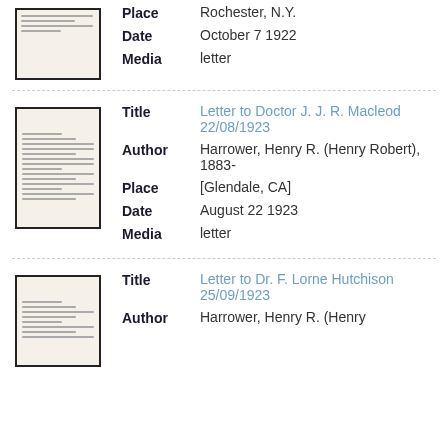[Figure (photo): Thumbnail of a historical letter document, partially visible at top]
Place: Rochester, N.Y.
Date: October 7 1922
Media: letter
[Figure (photo): Thumbnail of a typed letter document]
Title: Letter to Doctor J. J. R. Macleod 22/08/1923
Author: Harrower, Henry R. (Henry Robert), 1883-
Place: [Glendale, CA]
Date: August 22 1923
Media: letter
[Figure (photo): Thumbnail of another historical letter document, partially visible at bottom]
Title: Letter to Dr. F. Lorne Hutchison 25/09/1923
Author: Harrower, Henry R. (Henry